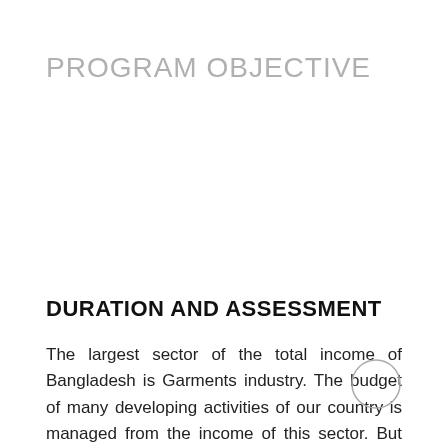PROGRAM OBJECTIVE
DURATION AND ASSESSMENT
The largest sector of the total income of Bangladesh is Garments industry. The budget of many developing activities of our country is managed from the income of this sector. But there are scarcity of skilled people in this sector.